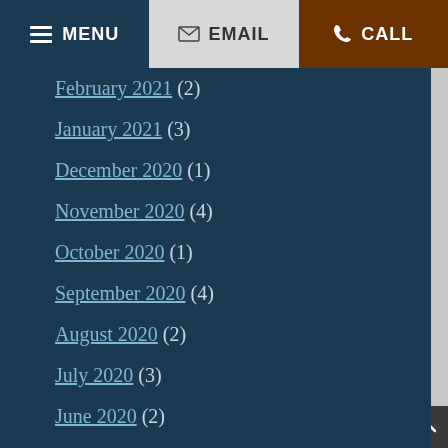MENU  EMAIL  CALL
February 2021 (2)
January 2021 (3)
December 2020 (1)
November 2020 (4)
October 2020 (1)
September 2020 (4)
August 2020 (2)
July 2020 (3)
June 2020 (2)
May 2020 (3)
April 2020 (4)
March 2020 (3)
February 2020 (3)